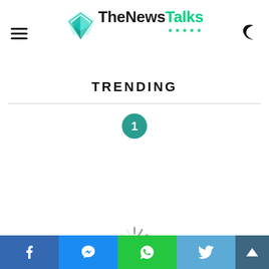TheNewsTalks — navigation header with logo and hamburger menu
TRENDING
[Figure (infographic): Number 1 badge in teal/green circle indicating trending item number 1]
[Figure (infographic): Loading spinner icon]
Social share bar: Facebook, Messenger, WhatsApp, Twitter, Scroll-to-top